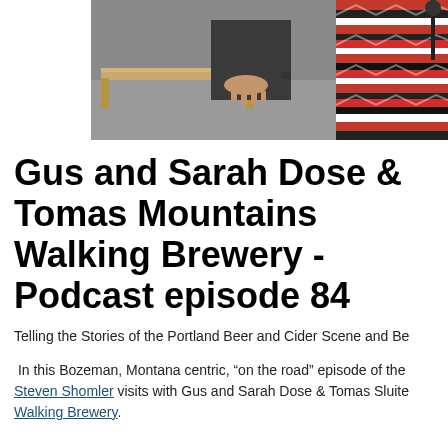[Figure (photo): Photo of people sitting on a couch with a colorful striped blanket in what appears to be a brewery or industrial space with a wooden coffee table]
Gus and Sarah Dose & Tomas Mountains Walking Brewery - Podcast episode 84
Telling the Stories of the Portland Beer and Cider Scene and Be
In this Bozeman, Montana centric, “on the road” episode of the Steven Shomler visits with Gus and Sarah Dose & Tomas Sluite Walking Brewery.